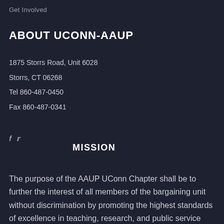Get Involved
ABOUT UCONN-AAUP
1875 Storrs Road, Unit 6028
Storrs, CT 06268
Tel 860-487-0450
Fax 860-487-0341
MISSION
The purpose of the AAUP UConn Chapter shall be to further the interest of all members of the bargaining unit without discrimination by promoting the highest standards of excellence in teaching, research, and public service and, by serving as the members'